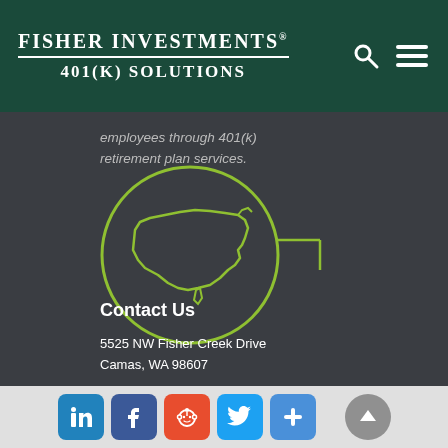Fisher Investments 401(k) Solutions
employees through 401(k) retirement plan services.
[Figure (illustration): Green circle outline containing a green outline map of the United States, with a bracket/callout line extending to the right, on a dark grey background.]
Contact Us
5525 NW Fisher Creek Drive
Camas, WA 98607
844-238-1247
Social share buttons: LinkedIn, Facebook, Reddit, Twitter, Share, scroll-to-top